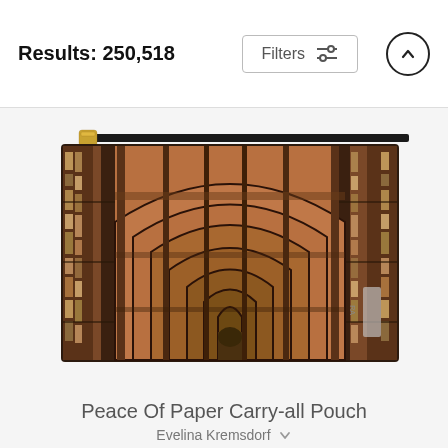Results: 250,518
[Figure (screenshot): Filters button with sliders icon and an up-arrow circle button]
[Figure (photo): A carry-all pouch product showing a photo of an ornate library interior with wooden arched ceiling and bookshelves, with a gold zipper at top]
Peace Of Paper Carry-all Pouch
Evelina Kremsdorf
$35 $28